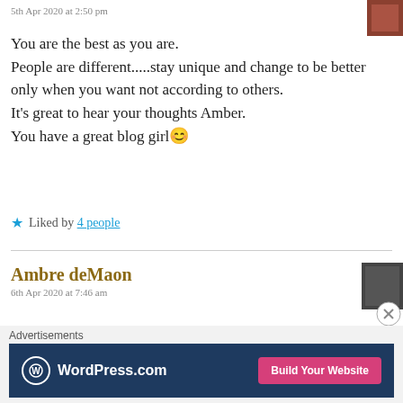5th Apr 2020 at 2:50 pm
You are the best as you are.
People are different.....stay unique and change to be better only when you want not according to others.
It's great to hear your thoughts Amber.
You have a great blog girl 😊
★ Liked by 4 people
Ambre deMaon
6th Apr 2020 at 7:46 am
Thanks so much, Ava. It makes me so happy to
Advertisements
[Figure (other): WordPress.com advertisement banner with logo and 'Build Your Website' button]